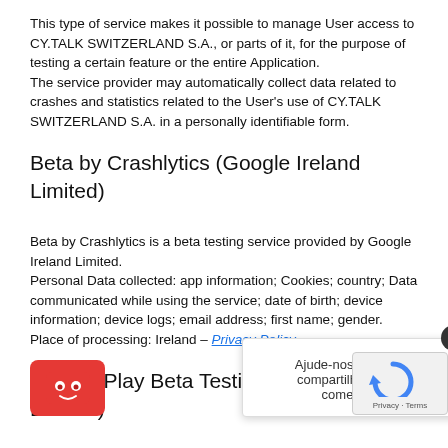This type of service makes it possible to manage User access to CY.TALK SWITZERLAND S.A., or parts of it, for the purpose of testing a certain feature or the entire Application.
The service provider may automatically collect data related to crashes and statistics related to the User's use of CY.TALK SWITZERLAND S.A. in a personally identifiable form.
Beta by Crashlytics (Google Ireland Limited)
Beta by Crashlytics is a beta testing service provided by Google Ireland Limited.
Personal Data collected: app information; Cookies; country; Data communicated while using the service; date of birth; device information; device logs; email address; first name; gender.
Place of processing: Ireland – Privacy Policy.
Google Play Beta Testing (Google Ireland Limited)
Google Play Beta Testing is a beta testing service provided by Google Ireland Limited.
Personal Data collected: Cookies; country; Data communicated while using the service; date of birth; device